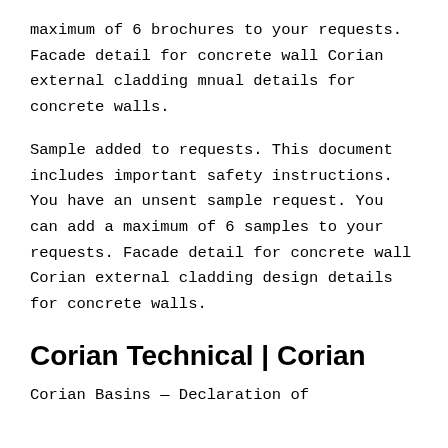maximum of 6 brochures to your requests. Facade detail for concrete wall Corian external cladding mnual details for concrete walls.
Sample added to requests. This document includes important safety instructions. You have an unsent sample request. You can add a maximum of 6 samples to your requests. Facade detail for concrete wall Corian external cladding design details for concrete walls.
Corian Technical | Corian
Corian Basins — Declaration of